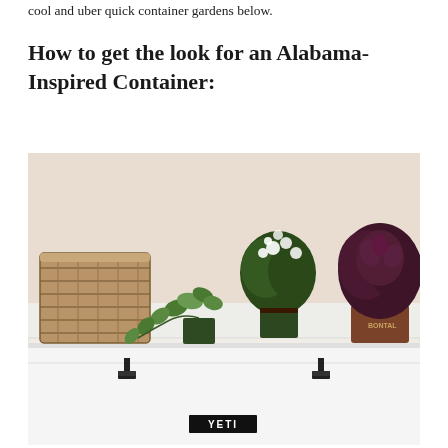cool and uber quick container gardens below.
How to get the look for an Alabama-Inspired Container:
[Figure (photo): A YETI cooler used as a planter shelf, holding a woven basket, trailing ivy plant in a small dark pot, a white flowering plant, and a dark-leafed plant in a terracotta pot, arranged against a beige/cream wall.]